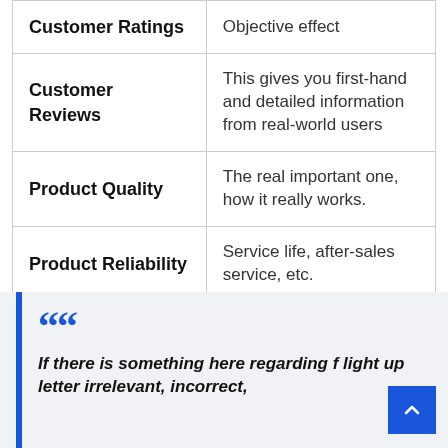| Customer Ratings | Objective effect |
| Customer Reviews | This gives you first-hand and detailed information from real-world users |
| Product Quality | The real important one, how it really works. |
| Product Reliability | Service life, after-sales service, etc. |
“If there is something here regarding f light up letter irrelevant, incorrect,